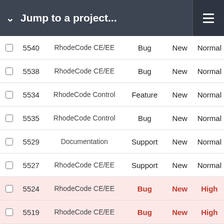Jump to a project...
|  | # | Project | Type | Status | Priority |
| --- | --- | --- | --- | --- | --- |
|  | 5540 | RhodeCode CE/EE | Bug | New | Normal |
|  | 5538 | RhodeCode CE/EE | Bug | New | Normal |
|  | 5534 | RhodeCode Control | Feature | New | Normal |
|  | 5535 | RhodeCode Control | Bug | New | Normal |
|  | 5529 | Documentation | Support | New | Normal |
|  | 5527 | RhodeCode CE/EE | Support | New | Normal |
|  | 5524 | RhodeCode CE/EE | Bug | New | High |
|  | 5519 | RhodeCode CE/EE | Bug | New | High |
|  | 5509 | RhodeCode CE/EE | Bug | New | Normal |
|  | 5511 | RhodeCode CE/EE | Feature | New | Normal |